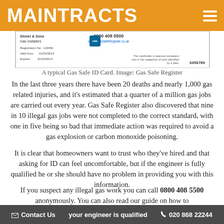MAINTRACTS
[Figure (photo): A typical Gas Safe ID Card showing registration number 123456, valid from 01/04/2013, expires 31/03/2014, phone 0800 408 5500, website GasSafeRegister.co.uk, card number 3456789]
A typical Gas Safe ID Card. Image: Gas Safe Register
In the last three years there have been 20 deaths and nearly 1,000 gas related injuries, and it’s estimated that a quarter of a million gas jobs are carried out every year. Gas Safe Register also discovered that nine in 10 illegal gas jobs were not completed to the correct standard, with one in five being so bad that immediate action was required to avoid a gas explosion or carbon monoxide poisoning.
It is clear that homeowners want to trust who they’ve hired and that asking for ID can feel uncomfortable, but if the engineer is fully qualified he or she should have no problem in providing you with this information.
If you suspect any illegal gas work you can call 0800 408 5500 anonymously. You can also read our guide on how to contact us your engineer is qualified
Contact Us  020 868 22244